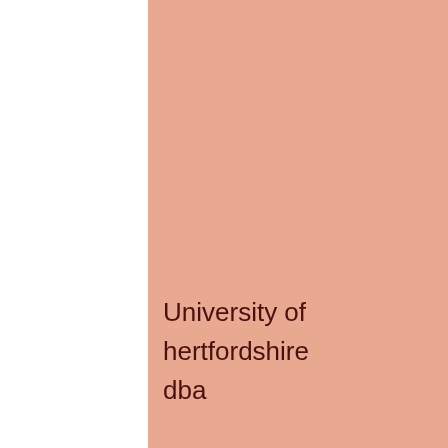[Figure (other): Cover page with salmon/pink background on the right portion of the page, white background on the left.]
University of hertfordshire dba